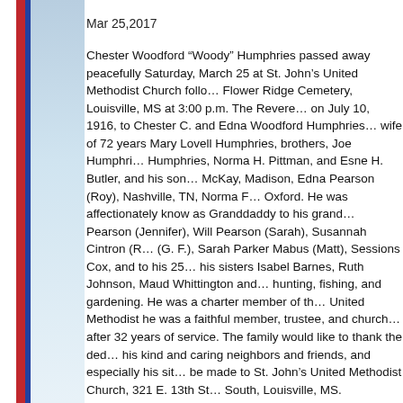Mar 25,2017
Chester Woodford “Woody” Humphries passed away peacefully Saturday, March 25 at St. John’s United Methodist Church followed by burial at Flower Ridge Cemetery, Louisville, MS at 3:00 p.m. The Reverend... on July 10, 1916, to Chester C. and Edna Woodford Humphries... wife of 72 years Mary Lovell Humphries, brothers, Joe Humphri... Humphries, Norma H. Pittman, and Esne H. Butler, and his son... McKay, Madison, Edna Pearson (Roy), Nashville, TN, Norma F... Oxford. He was affectionately know as Granddaddy to his grand... Pearson (Jennifer), Will Pearson (Sarah), Susannah Cintron (R... (G. F.), Sarah Parker Mabus (Matt), Sessions Cox, and to his 25... his sisters Isabel Barnes, Ruth Johnson, Maud Whittington and... hunting, fishing, and gardening. He was a charter member of th... United Methodist he was a faithful member, trustee, and church... after 32 years of service. The family would like to thank the ded... his kind and caring neighbors and friends, and especially his sit... be made to St. John’s United Methodist Church, 321 E. 13th St... South, Louisville, MS.